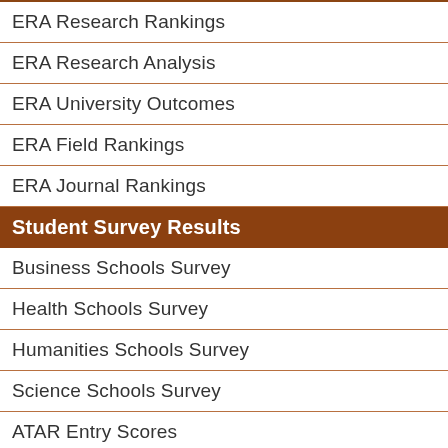ERA Research Rankings
ERA Research Analysis
ERA University Outcomes
ERA Field Rankings
ERA Journal Rankings
Student Survey Results
Business Schools Survey
Health Schools Survey
Humanities Schools Survey
Science Schools Survey
ATAR Entry Scores
Student Numbers
Total Student Numbers
International Student Numbers
Online Student Numbers
Most Online Students
Undergrad / Postgrad %
Gender Balance Ratio